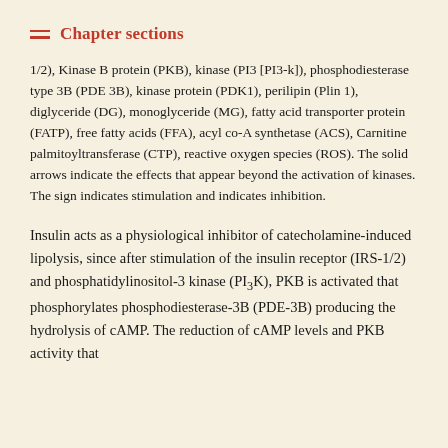Chapter sections
1/2), Kinase B protein (PKB), kinase (PI3 [PI3-k]), phosphodiesterase type 3B (PDE 3B), kinase protein (PDK1), perilipin (Plin 1), diglyceride (DG), monoglyceride (MG), fatty acid transporter protein (FATP), free fatty acids (FFA), acyl co-A synthetase (ACS), Carnitine palmitoyltransferase (CTP), reactive oxygen species (ROS). The solid arrows indicate the effects that appear beyond the activation of kinases. The sign indicates stimulation and indicates inhibition.
Insulin acts as a physiological inhibitor of catecholamine-induced lipolysis, since after stimulation of the insulin receptor (IRS-1/2) and phosphatidylinositol-3 kinase (PI3K), PKB is activated that phosphorylates phosphodiesterase-3B (PDE-3B) producing the hydrolysis of cAMP. The reduction of cAMP levels and PKB activity that